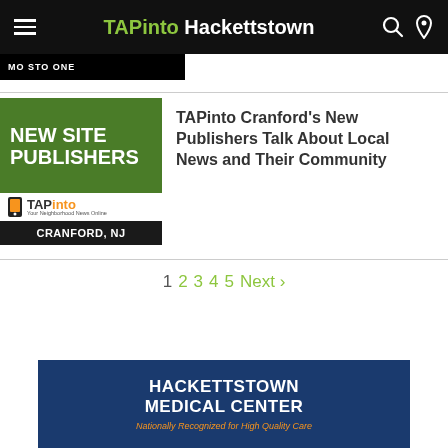TAPinto Hackettstown
[Figure (illustration): Green square image with white bold text 'NEW SITE PUBLISHERS', TAPinto logo bar, and black bar reading 'CRANFORD, NJ']
TAPinto Cranford's New Publishers Talk About Local News and Their Community
1  2  3  4  5  Next ›
[Figure (illustration): Hackettstown Medical Center advertisement banner with dark blue background, white text 'HACKETTSTOWN MEDICAL CENTER', and orange italic text 'Nationally Recognized for High Quality Care']